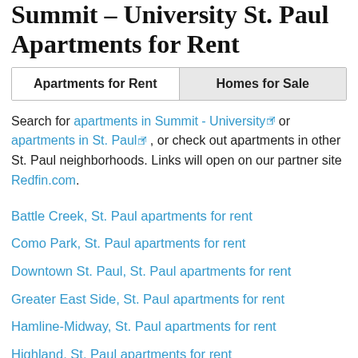Summit – University St. Paul Apartments for Rent
| Apartments for Rent | Homes for Sale |
| --- | --- |
Search for apartments in Summit - University or apartments in St. Paul , or check out apartments in other St. Paul neighborhoods. Links will open on our partner site Redfin.com.
Battle Creek, St. Paul apartments for rent
Como Park, St. Paul apartments for rent
Downtown St. Paul, St. Paul apartments for rent
Greater East Side, St. Paul apartments for rent
Hamline-Midway, St. Paul apartments for rent
Highland, St. Paul apartments for rent
Longfellow, St. Paul apartments for rent